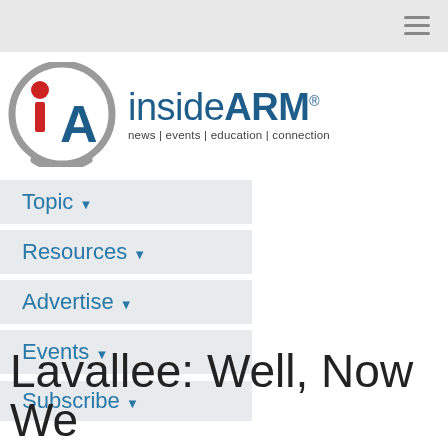[Figure (logo): insideARM logo with circular iA icon and tagline: news | events | education | connection]
Topic ▾
Resources ▾
Advertise ▾
Events ▾
Subscribe ▾
iA Store
Jobs
Lavallee: Well, Now We